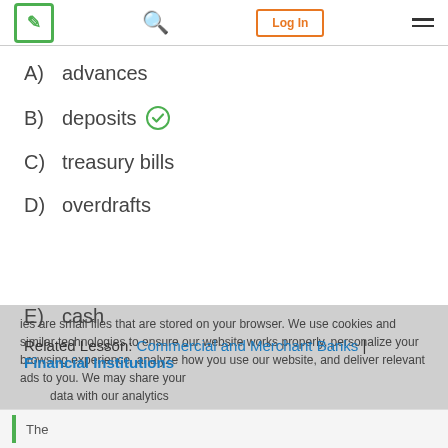Navigation bar with logo, search, Log In button, and menu
A)  advances
B)  deposits ✓
C)  treasury bills
D)  overdrafts
E)  cash
Related Lesson: Commercial and Merchant Banks | Financial Institutions
Cookies are small files that are stored on your browser. We use cookies and similar technologies to ensure our website works properly, personalize your browsing experience, analyze how you use our website, and deliver relevant ads to you. We may share your data with our analytics partners for these reasons. In summary, we use cookies to ensure that we give you the best experience on our website. You can learn more about how we use cookies by visiting our privacy policy page.